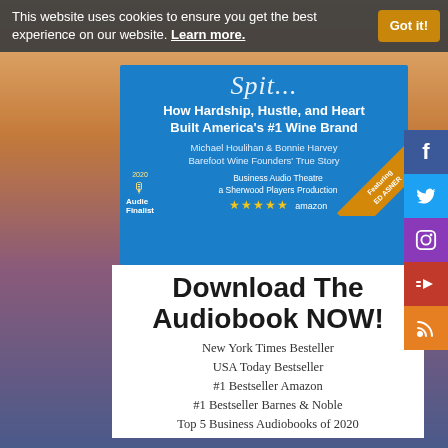This website uses cookies to ensure you get the best experience on our website. Learn more. Got it!
[Figure (illustration): Book audiobook cover for 'Spit' (partially visible title in script) - How Hardship, Hustle, and Heart Built America's #1 Wine Brand by Michael Houlihan & Bonnie Harvey, Barefoot Wine Founders' True Story. Business Audio Theatre, a Sherwood Playeres Production. 2020 Audie Finalist badge, 5 stars on Amazon, featuring Ed Asner diagonal banner.]
Download The Audiobook NOW!
New York Times Besteller
USA Today Bestseller
#1 Bestseller Amazon
#1 Bestseller Barnes & Noble
Top 5 Business Audiobooks of 2020